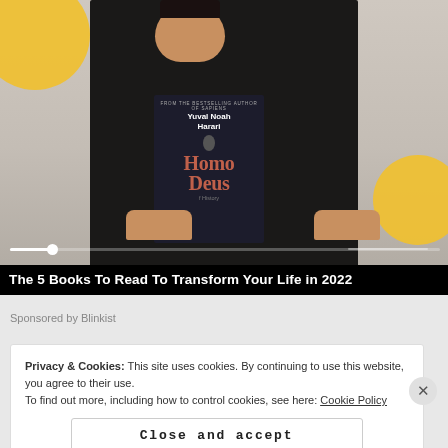[Figure (screenshot): Video thumbnail showing a person holding a copy of 'Homo Deus' by Yuval Noah Harari, with yellow decorative circles on a light background, and media player controls (progress bar, skip/pause/forward buttons) overlaid at the bottom.]
The 5 Books To Read To Transform Your Life in 2022
Sponsored by Blinkist
Privacy & Cookies: This site uses cookies. By continuing to use this website, you agree to their use.
To find out more, including how to control cookies, see here: Cookie Policy
Close and accept